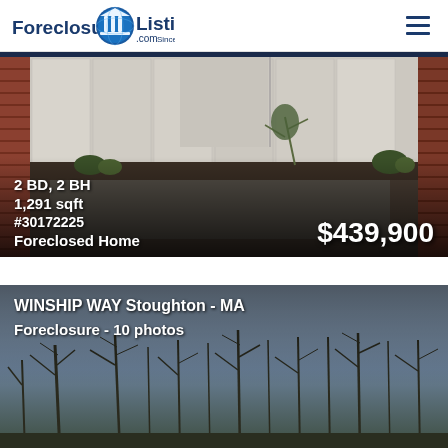ForeclosureListings.com Since 1998
[Figure (photo): Property photo showing a fenced backyard patio area with brick walls on sides and white vinyl fence in background, with garden plantings]
2 BD, 2 BH
1,291 sqft
#30172225
Foreclosed Home
$439,900
[Figure (photo): Property photo showing wooded area with bare trees against a blue-grey sky]
WINSHIP WAY Stoughton - MA
Foreclosure - 10 photos